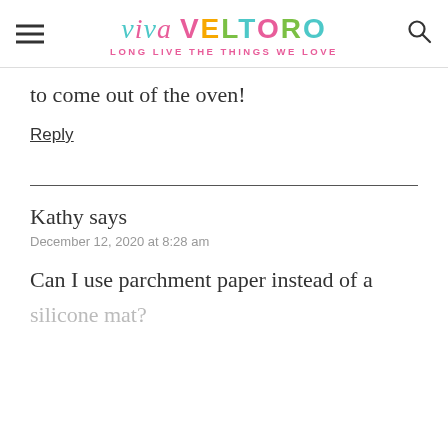viva VELTORO — LONG LIVE THE THINGS WE LOVE
to come out of the oven!
Reply
Kathy says
December 12, 2020 at 8:28 am
Can I use parchment paper instead of a silicone mat?